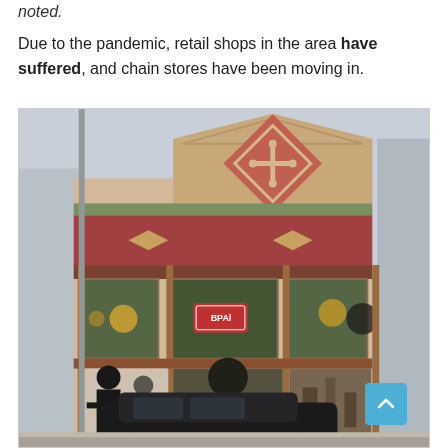noted.
Due to the pandemic, retail shops in the area have suffered, and chain stores have been moving in.
[Figure (photo): Street-level photo of a historic retail building facade with decorative Victorian-era architecture, red and tan ornamentation including a diamond cross motif at the top, shop windows displaying various items, murals of jazz musicians at street level, and a car parked in front.]